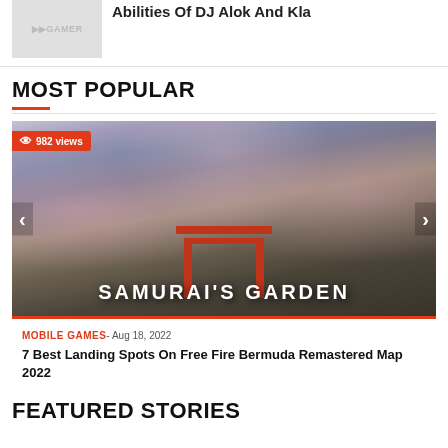[Figure (screenshot): Thumbnail image with logo watermark - gray placeholder image with 'PRO GAMER' style watermark]
Abilities Of DJ Alok And Kla
MOST POPULAR
[Figure (screenshot): Samurai's Garden game screenshot from Free Fire Bermuda Remastered Map showing Japanese torii gate and cherry blossom trees. Badge shows 982 views. Caption: MOBILE GAMES - Aug 18, 2022. Article: 7 Best Landing Spots On Free Fire Bermuda Remastered Map 2022]
MOBILE GAMES - Aug 18, 2022
7 Best Landing Spots On Free Fire Bermuda Remastered Map 2022
FEATURED STORIES